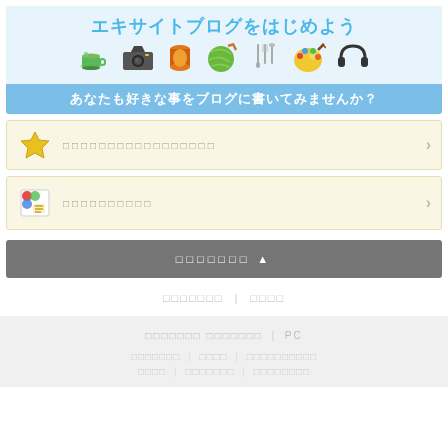[Figure (illustration): Excite blog promotional banner with Japanese text 'エキサイトブログをはじめよう' (Let's start an Excite Blog) and colorful hobby icons including a coffee cup, camera, thread spool, yarn ball, kitchen utensils, paint palette, and headphones on a light blue background, with subtitle 'あなたも好きな事をブログに書いてみませんか？' (Why not write about your favorite things on a blog?)]
□□□□□□□□□□□□□□□□□
□□□□□□□□□□
□□□□□□□ ▲
□□□□□□□ | □□□□
□□□□□□□ □□□□□□□ | PC
□□□□□□□ | □□□□ | □□□□□□□□□□
□□□□ | □□□□□□□ | □□□□□□□□